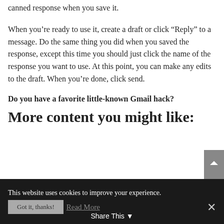canned response when you save it.
When you’re ready to use it, create a draft or click “Reply” to a message. Do the same thing you did when you saved the response, except this time you should just click the name of the response you want to use. At this point, you can make any edits to the draft. When you’re done, click send.
Do you have a favorite little-known Gmail hack?
More content you might like:
This website uses cookies to improve your experience. Got it, thanks! Read More Share This ×